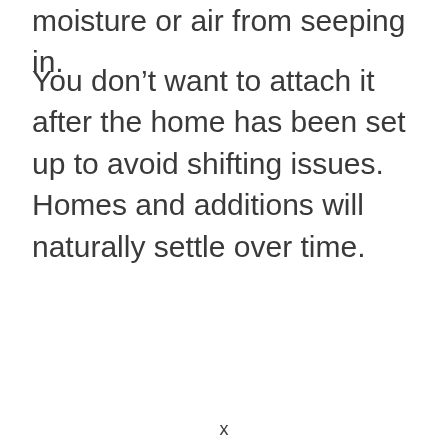moisture or air from seeping in.
You don’t want to attach it after the home has been set up to avoid shifting issues. Homes and additions will naturally settle over time.
x